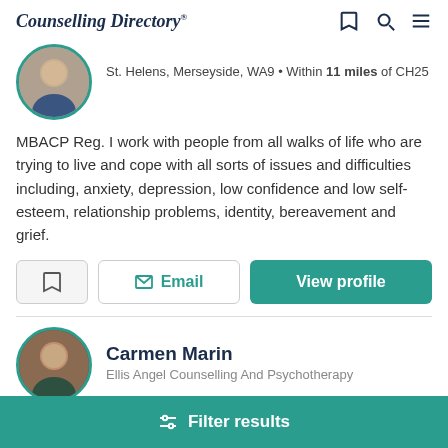Counselling Directory
St. Helens, Merseyside, WA9 • Within 11 miles of CH25
MBACP Reg. I work with people from all walks of life who are trying to live and cope with all sorts of issues and difficulties including, anxiety, depression, low confidence and low self-esteem, relationship problems, identity, bereavement and grief.
Email
View profile
Carmen Marin
Ellis Angel Counselling And Psychotherapy
Filter results